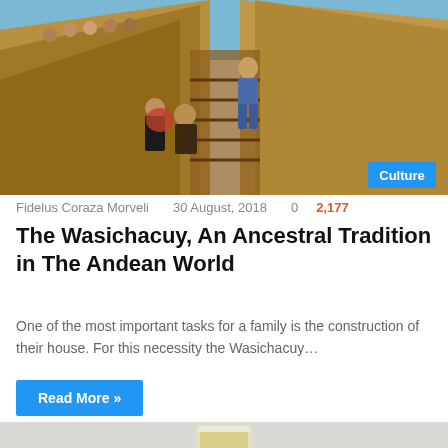[Figure (photo): People carrying straw/thatch up wooden ladder/steps on a hillside, with blue sky in background. A blue 'Culture' badge is overlaid in the bottom-right corner of the image.]
Fidelus Coraza Morveli    30 August, 2018    0    2,177
The Wasichacuy, An Ancestral Tradition in The Andean World
One of the most important tasks for a family is the construction of their house. For this necessity the Wasichacuy…
Read More »
[Figure (photo): Bottom portion of image showing a glass with yellow/golden liquid (likely chicha or similar drink) on a light gray background, partially visible at bottom of page.]